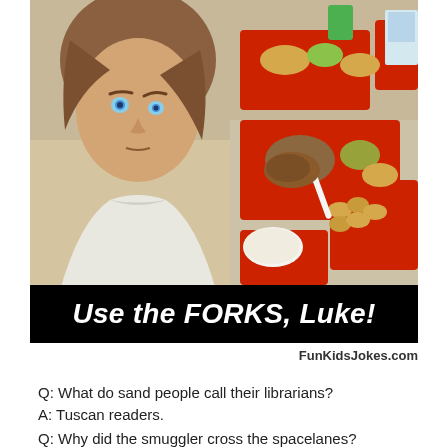[Figure (photo): A person resembling Luke Skywalker (young man with brown hair, white jacket) on the left side, overlaid with a cafeteria scene showing red food trays filled with food items including tater tots, vegetables, meat, and a white plastic fork/spoon.]
Use the FORKS, Luke!
FunKidsJokes.com
Q: What do sand people call their librarians?
A: Tuscan readers.
Q: Why did the smuggler cross the spacelanes?
A: To get to the other side.
Q: What do you call a Jedi in denial?